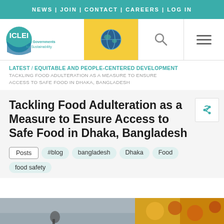NEWS | JOIN | CONTACT | CAREERS | LOG IN
[Figure (logo): ICLEI Local Governments for Sustainability logo, globe icon in yellow box, search icon, hamburger menu icon]
LATEST / EQUITABLE AND PEOPLE-CENTERED DEVELOPMENT
TACKLING FOOD ADULTERATION AS A MEASURE TO ENSURE ACCESS TO SAFE FOOD IN DHAKA, BANGLADESH
Tackling Food Adulteration as a Measure to Ensure Access to Safe Food in Dhaka, Bangladesh
Posts
#blog
bangladesh
Dhaka
Food
food safety
[Figure (photo): Partial photo strip at the bottom showing water/field scene and colorful food items]